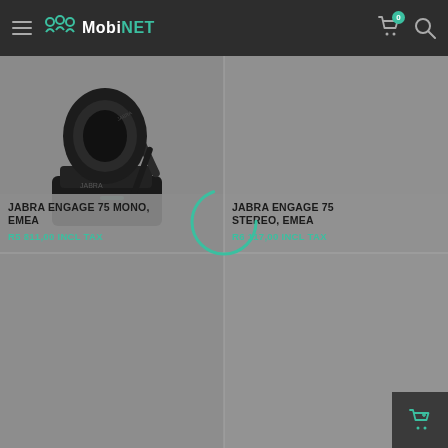MobiNET
[Figure (photo): Jabra Engage 75 Mono EMEA headset with charging dock on grey background]
JABRA ENGAGE 75 MONO, EMEA
R5 811,00 INCL TAX
JABRA ENGAGE 75 STEREO, EMEA
R6 117,00 INCL TAX